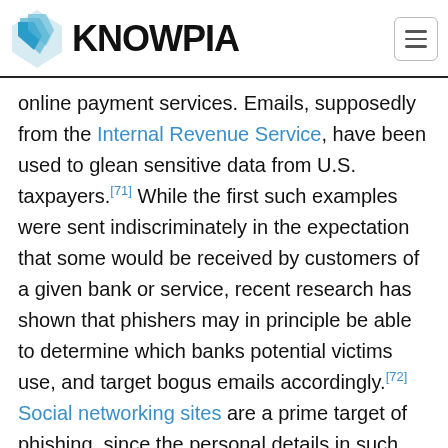KNOWPIA
online payment services. Emails, supposedly from the Internal Revenue Service, have been used to glean sensitive data from U.S. taxpayers.[71] While the first such examples were sent indiscriminately in the expectation that some would be received by customers of a given bank or service, recent research has shown that phishers may in principle be able to determine which banks potential victims use, and target bogus emails accordingly.[72] Social networking sites are a prime target of phishing, since the personal details in such sites can be used in identity theft;[73] in late 2006 a computer worm took over pages on MySpace and altered links to direct surfers to websites designed to steal login details.[74]